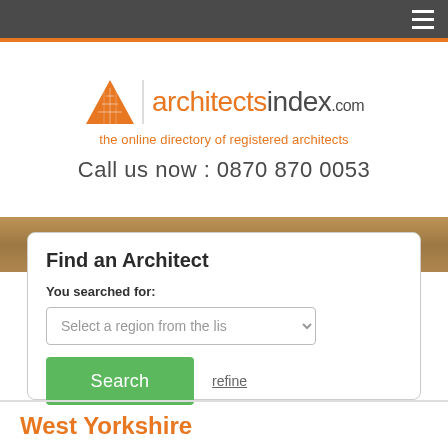architectsindex.com — the online directory of registered architects
Call us now : 0870 870 0053
Find an Architect
You searched for:
Select a region from the list
Search  refine
West Yorkshire